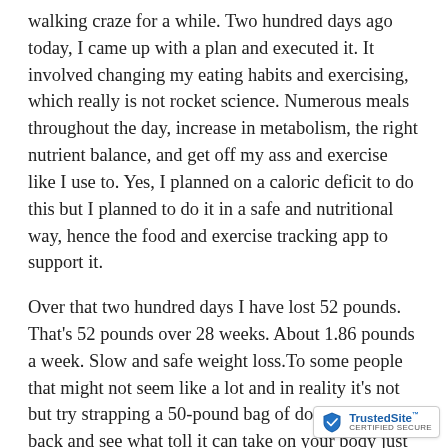walking craze for a while. Two hundred days ago today, I came up with a plan and executed it. It involved changing my eating habits and exercising, which really is not rocket science. Numerous meals throughout the day, increase in metabolism, the right nutrient balance, and get off my ass and exercise like I use to. Yes, I planned on a caloric deficit to do this but I planned to do it in a safe and nutritional way, hence the food and exercise tracking app to support it.
Over that two hundred days I have lost 52 pounds. That's 52 pounds over 28 weeks. About 1.86 pounds a week. Slow and safe weight loss.To some people that might not seem like a lot and in reality it's not but try strapping a 50-pound bag of dogfood to your back and see what toll it can take on your body just walking.
The fact that I'm bringing up weight loss as a measure of success is only for a means of what those 52 pou...
[Figure (logo): TrustedSite CERTIFIED SECURE badge in bottom right corner]